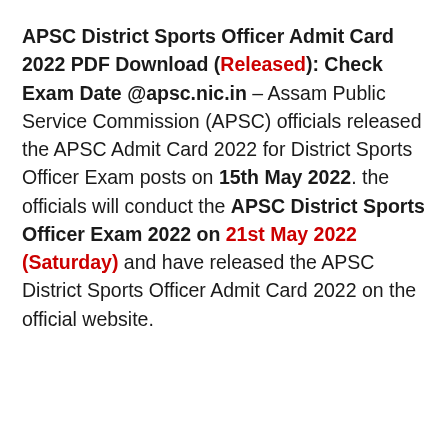APSC District Sports Officer Admit Card 2022 PDF Download (Released): Check Exam Date @apsc.nic.in – Assam Public Service Commission (APSC) officials released the APSC Admit Card 2022 for District Sports Officer Exam posts on 15th May 2022. the officials will conduct the APSC District Sports Officer Exam 2022 on 21st May 2022 (Saturday) and have released the APSC District Sports Officer Admit Card 2022 on the official website.